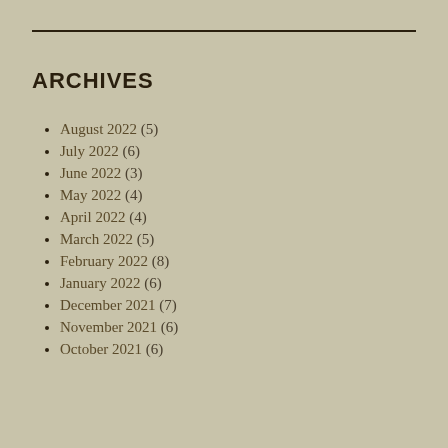ARCHIVES
August 2022 (5)
July 2022 (6)
June 2022 (3)
May 2022 (4)
April 2022 (4)
March 2022 (5)
February 2022 (8)
January 2022 (6)
December 2021 (7)
November 2021 (6)
October 2021 (6)